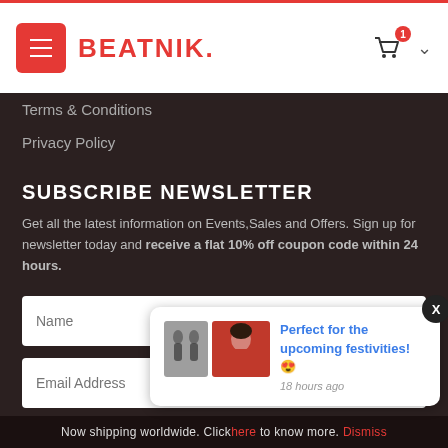BEATNIK. [navigation bar with menu button, logo, cart icon with badge 1]
Terms & Conditions
Privacy Policy
SUBSCRIBE NEWSLETTER
Get all the latest information on Events,Sales and Offers. Sign up for newsletter today and receive a flat 10% off coupon code within 24 hours.
Name [input field]
Email Address [input field]
[Figure (screenshot): Popup notification showing earring images and a woman wearing jewelry, with text 'Perfect for the upcoming festivities! 😍' and '18 hours ago', with a close X button]
Now shipping worldwide. Click here to know more. Dismiss